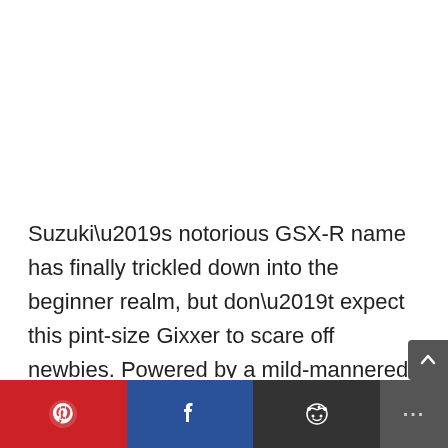Suzuki’s notorious GSX-R name has finally trickled down into the beginner realm, but don’t expect this pint-size Gixxer to scare off newbies. Powered by a mild-mannered, fuel-efficient 250cc parallel-twin engine and designed to be ergonomically agreeable, the GSX250R combines sharp-edged sport-bike styling with the sorts of endearing qualities that draw more folks to motorcycling. The low seat height, slim